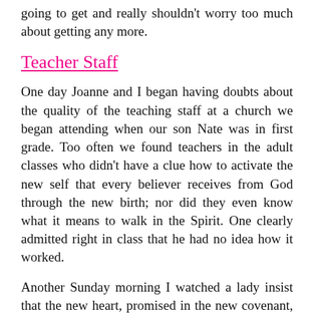going to get and really shouldn't worry too much about getting any more.
Teacher Staff
One day Joanne and I began having doubts about the quality of the teaching staff at a church we began attending when our son Nate was in first grade. Too often we found teachers in the adult classes who didn't have a clue how to activate the new self that every believer receives from God through the new birth; nor did they even know what it means to walk in the Spirit. One clearly admitted right in class that he had no idea how it worked.
Another Sunday morning I watched a lady insist that the new heart, promised in the new covenant, is not